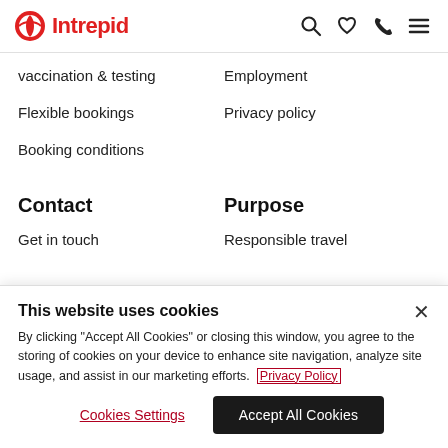Intrepid [logo]
vaccination & testing
Employment
Flexible bookings
Privacy policy
Booking conditions
Contact
Purpose
Get in touch
Responsible travel
This website uses cookies
By clicking "Accept All Cookies" or closing this window, you agree to the storing of cookies on your device to enhance site navigation, analyze site usage, and assist in our marketing efforts. Privacy Policy
Cookies Settings
Accept All Cookies